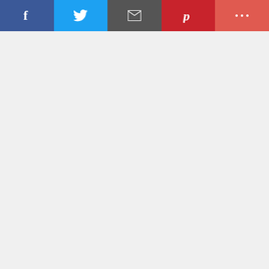[Figure (infographic): Social share bar with Facebook (blue), Twitter (light blue), Email (dark gray), Pinterest (red), and More (salmon red) buttons]
[Figure (photo): Large photo area (appears mostly white/empty in crop) with caption: photo courtesy of the Justice Theater Project]
photo courtesy of the Justice Theater Project
The Gershwins' Porgy and Bess
★★★
Through
Umstead
When a
[Figure (infographic): 2022 Centerfest Arts Festival advertisement banner in blue with orange and teal text]
[Figure (logo): INDY - Manage My Account circular badge]